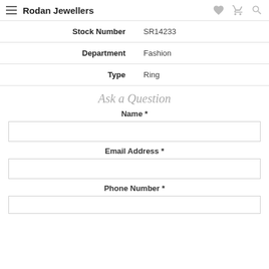Rodan Jewellers
| Stock Number | SR14233 |
| Department | Fashion |
| Type | Ring |
Ask a Question
Name *
Email Address *
Phone Number *